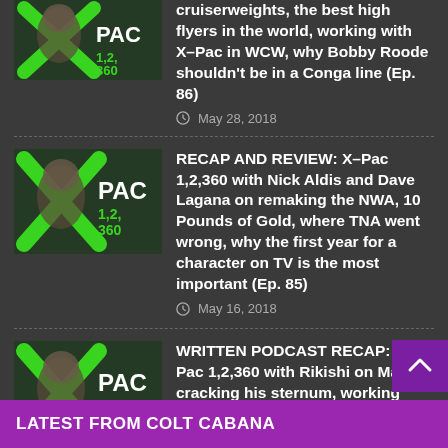cruiserweights, the best high flyers in the world, working with X-Pac in WCW, why Bobby Roode shouldn't be in a Conga line (Ep. 86)
May 28, 2018
RECAP AND REVIEW: X-Pac 1,2,360 with Nick Aldis and Dave Lagana on remaking the NWA, 10 Pounds of Gold, where TNA went wrong, why the first year for a character on TV is the most important (Ep. 85)
May 16, 2018
WRITTEN PODCAST RECAP: X-Pac 1,2,360 with Rikishi on Mabel cracking his sternum, working with Steve Austin, getting chokeslammed off Hell in a Cell, does the Stinkface actually stink? (Ep. 84)
May 10, 2018
LATEST FROM COLT CABANA